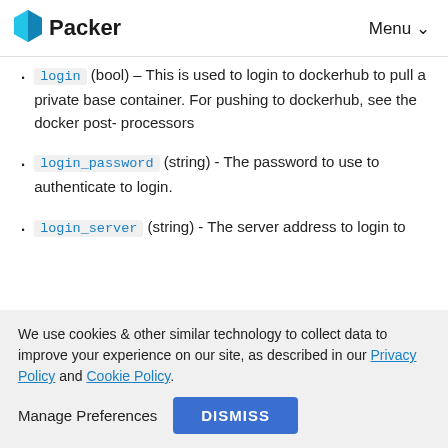Packer   Menu
login (bool) - This is used to login to dockerhub to pull a private base container. For pushing to dockerhub, see the docker post-processors
login_password (string) - The password to use to authenticate to login.
login_server (string) - The server address to login to
We use cookies & other similar technology to collect data to improve your experience on our site, as described in our Privacy Policy and Cookie Policy.